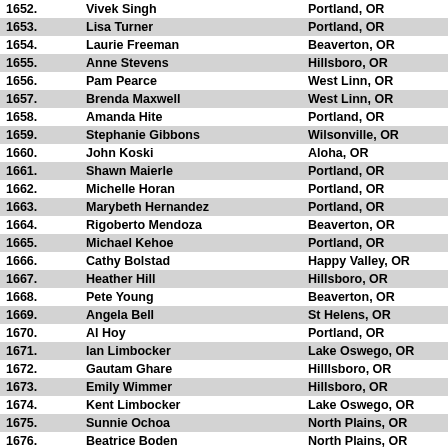| # | Name | City |
| --- | --- | --- |
| 1652. | Vivek Singh | Portland, OR |
| 1653. | Lisa Turner | Portland, OR |
| 1654. | Laurie Freeman | Beaverton, OR |
| 1655. | Anne Stevens | Hillsboro, OR |
| 1656. | Pam Pearce | West Linn, OR |
| 1657. | Brenda Maxwell | West Linn, OR |
| 1658. | Amanda Hite | Portland, OR |
| 1659. | Stephanie Gibbons | Wilsonville, OR |
| 1660. | John Koski | Aloha, OR |
| 1661. | Shawn Maierle | Portland, OR |
| 1662. | Michelle Horan | Portland, OR |
| 1663. | Marybeth Hernandez | Portland, OR |
| 1664. | Rigoberto Mendoza | Beaverton, OR |
| 1665. | Michael Kehoe | Portland, OR |
| 1666. | Cathy Bolstad | Happy Valley, OR |
| 1667. | Heather Hill | Hillsboro, OR |
| 1668. | Pete Young | Beaverton, OR |
| 1669. | Angela Bell | St Helens, OR |
| 1670. | Al Hoy | Portland, OR |
| 1671. | Ian Limbocker | Lake Oswego, OR |
| 1672. | Gautam Ghare | Hilllsboro, OR |
| 1673. | Emily Wimmer | Hillsboro, OR |
| 1674. | Kent Limbocker | Lake Oswego, OR |
| 1675. | Sunnie Ochoa | North Plains, OR |
| 1676. | Beatrice Boden | North Plains, OR |
| 1677. | Amy McClung | Beaverton, OR |
| 1678. | Kristi Anderson | Hillsboro, OR |
| 1679. | Anita Siller | Aloha, OR |
| 1680. | Eddie Siller | Aloha, OR |
| 1681. | Malee Gunaratne | Eugene, OR |